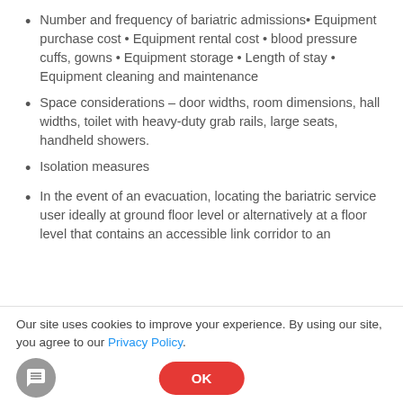Number and frequency of bariatric admissions• Equipment purchase cost • Equipment rental cost • blood pressure cuffs, gowns • Equipment storage • Length of stay • Equipment cleaning and maintenance
Space considerations – door widths, room dimensions, hall widths, toilet with heavy-duty grab rails, large seats, handheld showers.
Isolation measures
In the event of an evacuation, locating the bariatric service user ideally at ground floor level or alternatively at a floor level that contains an accessible link corridor to an
Our site uses cookies to improve your experience. By using our site, you agree to our Privacy Policy.